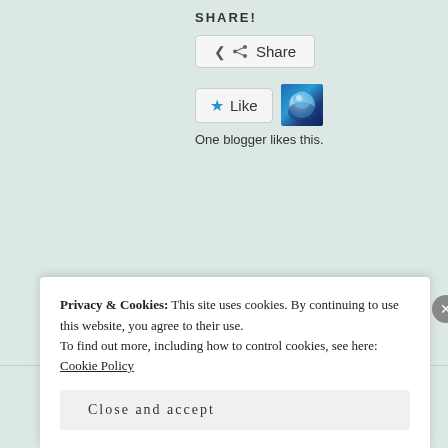SHARE!
[Figure (screenshot): Share button with share icon]
[Figure (screenshot): Like button with star icon and blogger thumbnail image]
One blogger likes this.
BADNESS, NERD
Fewer mistakes, less
Privacy & Cookies: This site uses cookies. By continuing to use this website, you agree to their use.
To find out more, including how to control cookies, see here: Cookie Policy
Close and accept